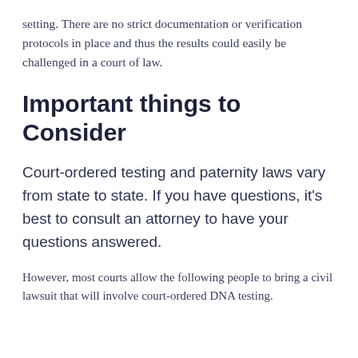setting. There are no strict documentation or verification protocols in place and thus the results could easily be challenged in a court of law.
Important things to Consider
Court-ordered testing and paternity laws vary from state to state. If you have questions, it’s best to consult an attorney to have your questions answered.
However, most courts allow the following people to bring a civil lawsuit that will involve court-ordered DNA testing.